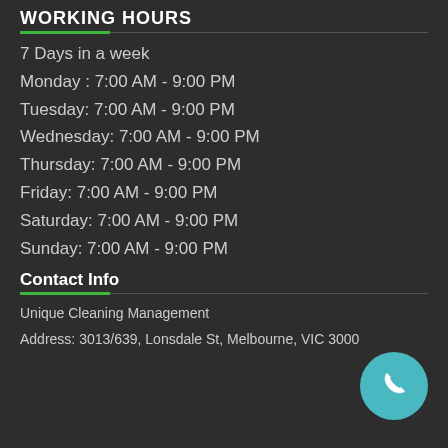WORKING HOURS
7 Days in a week
Monday : 7:00 AM - 9:00 PM
Tuesday: 7:00 AM - 9:00 PM
Wednesday: 7:00 AM - 9:00 PM
Thursday: 7:00 AM - 9:00 PM
Friday: 7:00 AM - 9:00 PM
Saturday: 7:00 AM - 9:00 PM
Sunday: 7:00 AM - 9:00 PM
Contact Info
Unique Cleaning Management
Address: 3013/639, Lonsdale St, Melbourne, VIC 3000